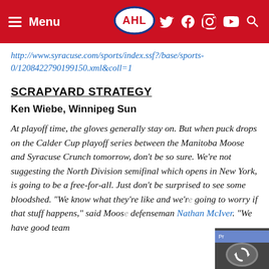Menu | AHL | [social icons]
http://www.syracuse.com/sports/index.ssf?/base/sports-0/1208422790199150.xml&coll=1
SCRAPYARD STRATEGY
Ken Wiebe, Winnipeg Sun
At playoff time, the gloves generally stay on. But when puck drops on the Calder Cup playoff series between the Manitoba Moose and Syracuse Crunch tomorrow, don't be so sure. We're not suggesting the North Division semifinal which opens in New York, is going to be a free-for-all. Just don't be surprised to see some bloodshed. "We know what they're like and we're going to worry if that stuff happens," said Moose defenseman Nathan McIver. "We have good team